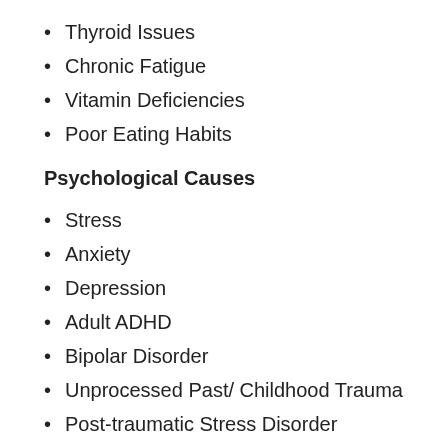Thyroid Issues
Chronic Fatigue
Vitamin Deficiencies
Poor Eating Habits
Psychological Causes
Stress
Anxiety
Depression
Adult ADHD
Bipolar Disorder
Unprocessed Past/ Childhood Trauma
Post-traumatic Stress Disorder